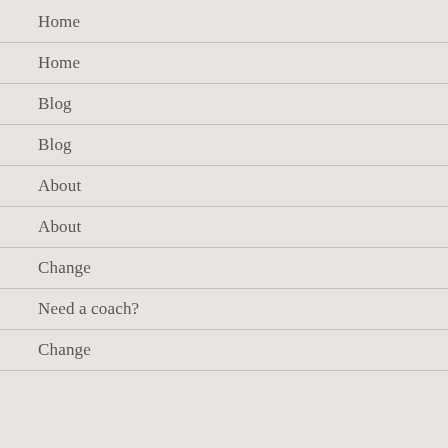Home
Home
Blog
Blog
About
About
Change
Need a coach?
Change